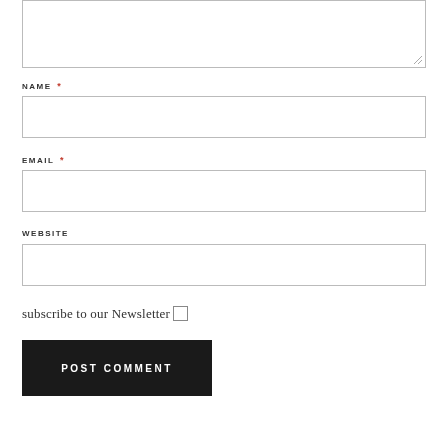[Figure (screenshot): Top portion of a comment form showing a textarea with resize handle]
NAME *
[Figure (screenshot): Text input field for Name]
EMAIL *
[Figure (screenshot): Text input field for Email]
WEBSITE
[Figure (screenshot): Text input field for Website]
subscribe to our Newsletter
POST COMMENT